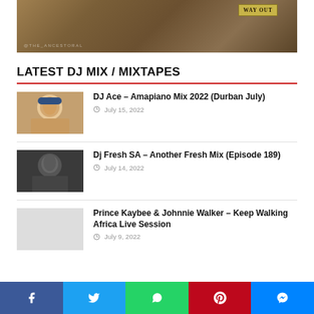[Figure (photo): Dimly lit background image with wooden/brick texture and a 'WAY OUT' sign, watermark @THE_ANCESTORAL]
LATEST DJ MIX / MIXTAPES
DJ Ace – Amapiano Mix 2022 (Durban July)
July 15, 2022
Dj Fresh SA – Another Fresh Mix (Episode 189)
July 14, 2022
Prince Kaybee & Johnnie Walker – Keep Walking Africa Live Session
July 9, 2022